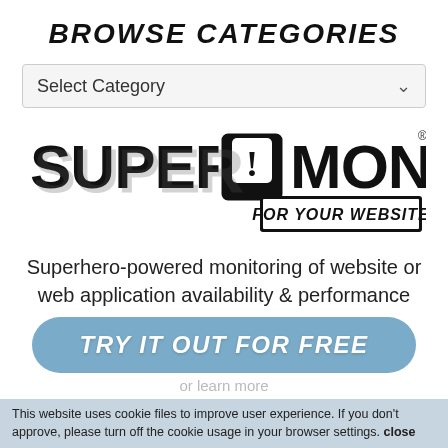BROWSE CATEGORIES
[Figure (screenshot): Select Category dropdown widget with chevron arrow]
[Figure (logo): Super Monitoring logo — comic-book style bold lettering with exclamation mark icon, subtitle FOR YOUR WEBSITE]
Superhero-powered monitoring of website or web application availability & performance
[Figure (screenshot): Blue rounded button with bold italic text TRY IT OUT FOR FREE]
or learn more
This website uses cookie files to improve user experience. If you don't approve, please turn off the cookie usage in your browser settings. close